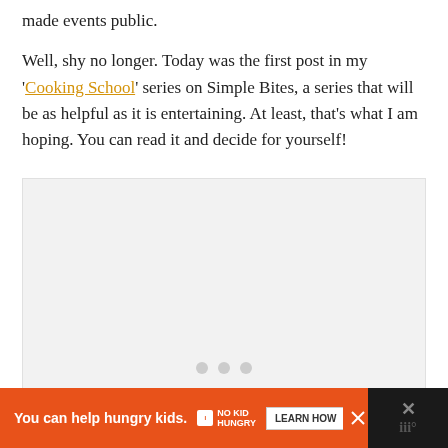made events public.
Well, shy no longer. Today was the first post in my 'Cooking School' series on Simple Bites, a series that will be as helpful as it is entertaining. At least, that's what I am hoping. You can read it and decide for yourself!
[Figure (other): Gray image placeholder area with three gray dots indicating a loading carousel or empty image slot]